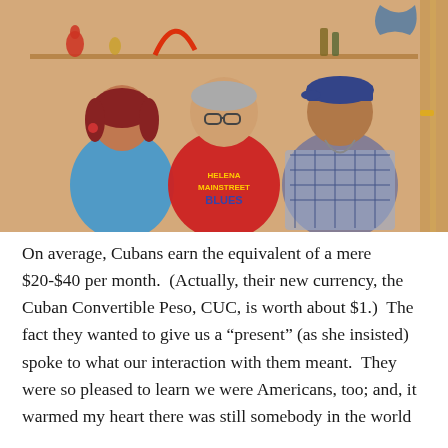[Figure (photo): Three people posing together indoors. A woman in a blue top on the left, a man in a red Helena Mainstreet Blues t-shirt in the center, and an older man in a plaid shirt wearing a cap on the right. Shelves with decorative items visible in the background against a warm-toned wall.]
On average, Cubans earn the equivalent of a mere $20-$40 per month.  (Actually, their new currency, the Cuban Convertible Peso, CUC, is worth about $1.)  The fact they wanted to give us a “present” (as she insisted) spoke to what our interaction with them meant.  They were so pleased to learn we were Americans, too; and, it warmed my heart there was still somebody in the world